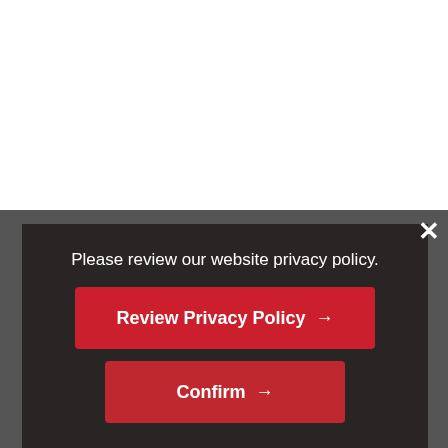[Figure (screenshot): White space background upper half of page (website content area above modal overlay)]
Please review our website privacy policy.
Review Privacy Policy →
Confirm →